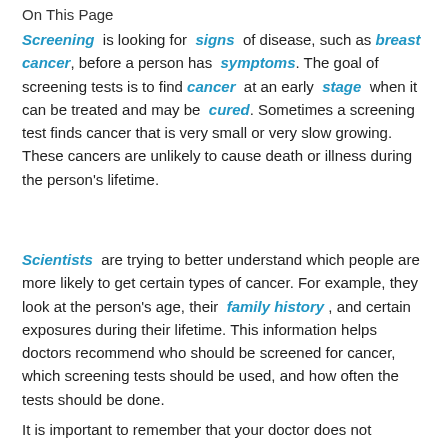On This Page
Screening is looking for signs of disease, such as breast cancer, before a person has symptoms. The goal of screening tests is to find cancer at an early stage when it can be treated and may be cured. Sometimes a screening test finds cancer that is very small or very slow growing. These cancers are unlikely to cause death or illness during the person's lifetime.
Scientists are trying to better understand which people are more likely to get certain types of cancer. For example, they look at the person's age, their family history, and certain exposures during their lifetime. This information helps doctors recommend who should be screened for cancer, which screening tests should be used, and how often the tests should be done.
It is important to remember that your doctor does not